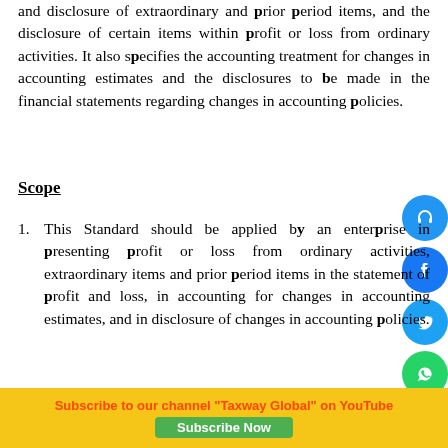and disclosure of extraordinary and prior period items, and the disclosure of certain items within profit or loss from ordinary activities. It also specifies the accounting treatment for changes in accounting estimates and the disclosures to be made in the financial statements regarding changes in accounting policies.
Scope
1. This Standard should be applied by an enterprise in presenting profit or loss from ordinary activities, extraordinary items and prior period items in the statement of profit and loss, in accounting for changes in accounting estimates, and in disclosure of changes in accounting policies.
2. This Standard deals with, among other...
Subscribe to our channel "Taxway Global" on YouTube